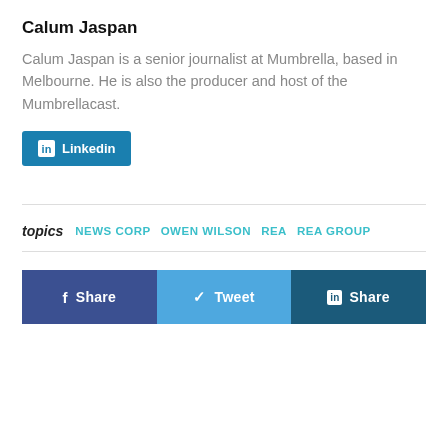Calum Jaspan
Calum Jaspan is a senior journalist at Mumbrella, based in Melbourne. He is also the producer and host of the Mumbrellacast.
in Linkedin
topics  NEWS CORP  OWEN WILSON  REA  REA GROUP
[Figure (other): Social sharing bar with Facebook Share, Twitter Tweet, and LinkedIn Share buttons]